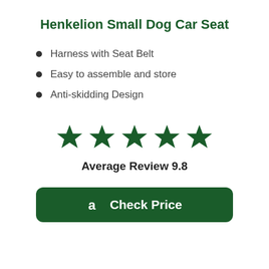Henkelion Small Dog Car Seat
Harness with Seat Belt
Easy to assemble and store
Anti-skidding Design
[Figure (other): Five green filled star icons representing a 5-star rating]
Average Review 9.8
[Figure (other): Green rounded button with Amazon 'a' logo and text 'Check Price']